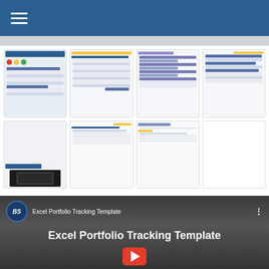Excel Portfolio Tracking Template
[Figure (screenshot): Grid of 7 Excel spreadsheet screenshots showing portfolio tracking template views including a dashboard with red/yellow/green status indicators and multiple spreadsheet data views]
[Figure (screenshot): YouTube video thumbnail for Excel Portfolio Tracking Template by BS channel, showing play button]